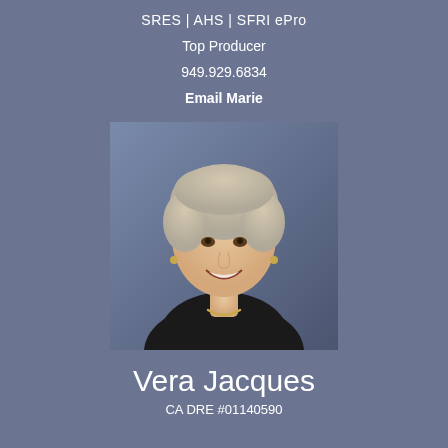SRES | AHS | SFRI ePro
Top Producer
949.929.6834
Email Marie
[Figure (photo): Professional headshot of Vera Jacques, an elderly woman with short gray hair, smiling, wearing a dark blazer and gold necklace, against a gradient blue-gray background.]
Vera Jacques
CA DRE #01140590